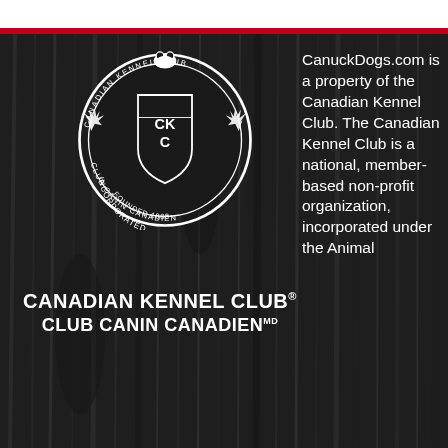[Figure (logo): Canadian Kennel Club / Club Canin Canadien circular emblem with bear at top, maple leaves on sides, shield with CKC letters, 'INCORPORATED' and 'FOUNDED 1888' banner at bottom]
CANADIAN KENNEL CLUB® CLUB CANIN CANADIEN™
CanuckDogs.com is a property of the Canadian Kennel Club. The Canadian Kennel Club is a national, member-based non-profit organization, incorporated under the Animal